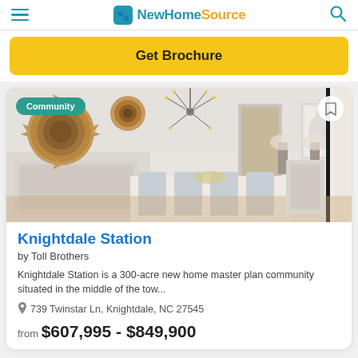NewHomeSource
Get Brochure
[Figure (photo): Interior dining room photo with woven basket wall decor, sputnik chandelier, white dining table and chairs, and horse artwork on the wall. Community badge overlay in top left.]
Knightdale Station
by Toll Brothers
Knightdale Station is a 300-acre new home master plan community situated in the middle of the tow...
739 Twinstar Ln, Knightdale, NC 27545
from $607,995 - $849,900